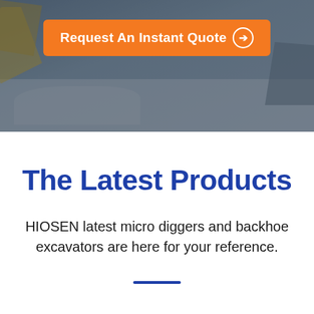[Figure (photo): A construction excavator/backhoe working in a snowy environment, viewed from a low angle. The image is darkened with a blue-grey overlay. An orange CTA button reads 'Request An Instant Quote' with a circle-arrow icon, overlaid on the photo.]
The Latest Products
HIOSEN latest micro diggers and backhoe excavators are here for your reference.